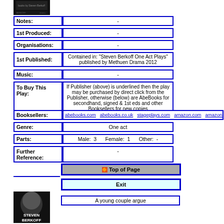[Figure (photo): Book cover image top]
| Notes: |  |
| --- | --- |
| - |
| 1st Produced: |  |
| --- | --- |
| - |
| Organisations: |  |
| --- | --- |
| - |
| 1st Published: |  |
| --- | --- |
| Contained in: "Steven Berkoff One Act Plays" published by Methuen Drama 2012 |
| Music: |  |
| --- | --- |
| - |
| To Buy This Play: |  |
| --- | --- |
| If Publisher (above) is underlined then the play may be purchased by direct click from the Publisher, otherwise (below) are AbeBooks for secondhand, signed & 1st eds and other Booksellers for new copies |
| Booksellers: |  |
| --- | --- |
| abebooks.com  abebooks.co.uk  stageplays.com  amazon.com  amazon.co.uk  am |
| Genre: |  |
| --- | --- |
| One act |
| Parts: |  |
| --- | --- |
| Male: 3    Female: 1    Other: - |
| Further Reference: |  |
| --- | --- |
| - |
Top of Page
Exit
[Figure (photo): Steven Berkoff book cover]
A young couple argue